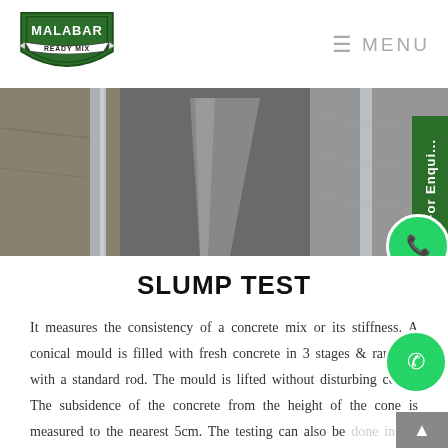[Figure (logo): Malabar Ready Mix shield logo in green with white text]
≡ MENU
[Figure (photo): Close-up photo of concrete slump test — metal cone mold and concrete mix]
SLUMP TEST
It measures the consistency of a concrete mix or its stiffness. A conical mould is filled with fresh concrete in 3 stages & rammed with a standard rod. The mould is lifted without disturbing cone . The subsidence of the concrete from the height of the cone is measured to the nearest 5cm. The testing can also be done in the presence of customer at our in-house laboratory.